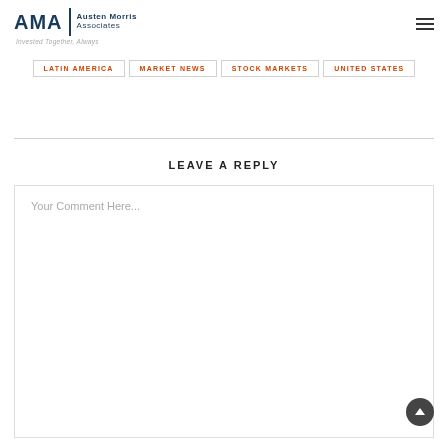AMA | Austen Morris Associates — Invested Together, Always
LATIN AMERICA
MARKET NEWS
STOCK MARKETS
UNITED STATES
LEAVE A REPLY
Your Comment Here...